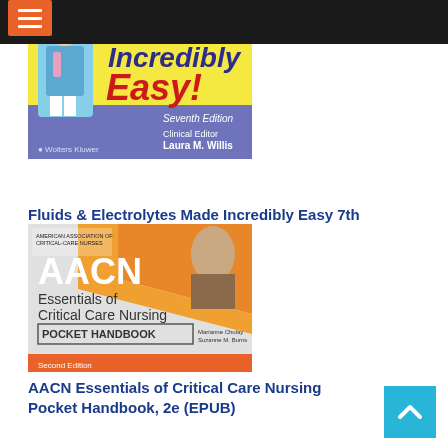[Figure (screenshot): Top navigation bar with dark background, orange hamburger menu button on the left]
[Figure (photo): Book cover: Fluids & Electrolytes Made Incredibly Easy, Seventh Edition, Clinical Editor Laura M. Willis, Wolters Kluwer]
Fluids & Electrolytes Made Incredibly Easy 7th (EPUB)
[Figure (photo): Book cover: AACN Essentials of Critical Care Nursing Pocket Handbook, Second Edition, Marianne Chulay, Suzanne M. Burns]
AACN Essentials of Critical Care Nursing Pocket Handbook, 2e (EPUB)